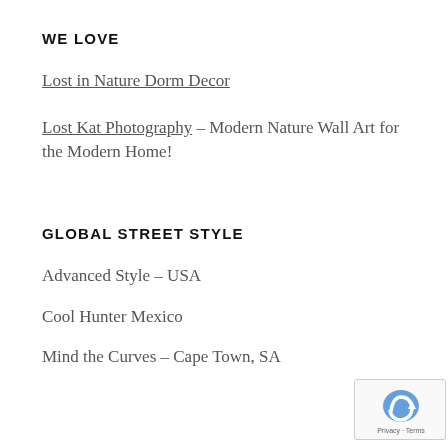WE LOVE
Lost in Nature Dorm Decor
Lost Kat Photography – Modern Nature Wall Art for the Modern Home!
GLOBAL STREET STYLE
Advanced Style – USA
Cool Hunter Mexico
Mind the Curves – Cape Town, SA